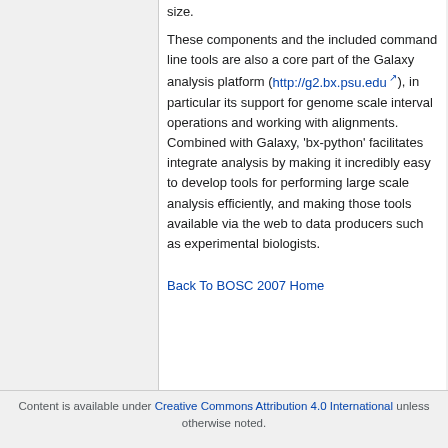size.
These components and the included command line tools are also a core part of the Galaxy analysis platform (http://g2.bx.psu.edu), in particular its support for genome scale interval operations and working with alignments. Combined with Galaxy, 'bx-python' facilitates integrate analysis by making it incredibly easy to develop tools for performing large scale analysis efficiently, and making those tools available via the web to data producers such as experimental biologists.
Back To BOSC 2007 Home
Content is available under Creative Commons Attribution 4.0 International unless otherwise noted.